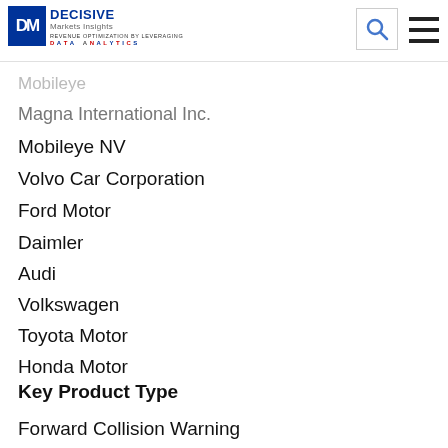Decisive Markets Insights logo, search icon, hamburger menu
Robert Bosch GmbH
Aptiv Automotive Plc.
Mobileye
Magna International Inc.
Mobileye NV
Volvo Car Corporation
Ford Motor
Daimler
Audi
Volkswagen
Toyota Motor
Honda Motor
Key Product Type
Forward Collision Warning
Dynamic Brake Support
Crash Imminent Braking
Market by Application
Passenger Cars
Light Commercial Vehicle
Heavy Commercial Vehicle